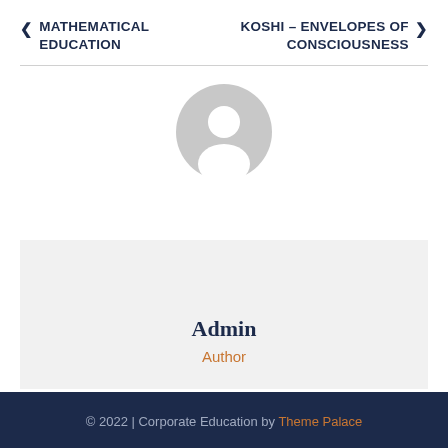< MATHEMATICAL EDUCATION
KOSHI – ENVELOPES OF CONSCIOUSNESS >
[Figure (illustration): Default user avatar: gray circle with white silhouette of a person (head and shoulders)]
Admin
Author
© 2022 | Corporate Education by Theme Palace